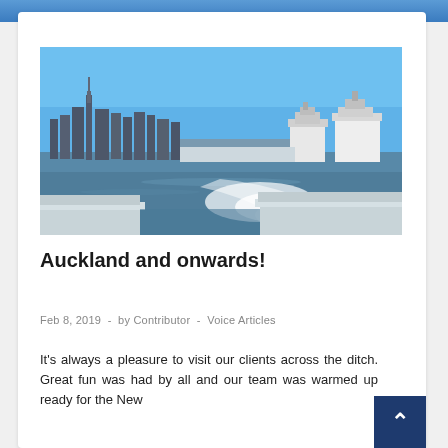[Figure (photo): View from a ferry on Auckland harbour, showing the Auckland city skyline with distinctive Sky Tower, several cruise ships at the waterfront, blue sky, and the ferry wake in the foreground with seating visible at the bottom of the frame.]
Auckland and onwards!
Feb 8, 2019  -  by Contributor  -  Voice Articles
It's always a pleasure to visit our clients across the ditch. Great fun was had by all and our team was warmed up ready for the New